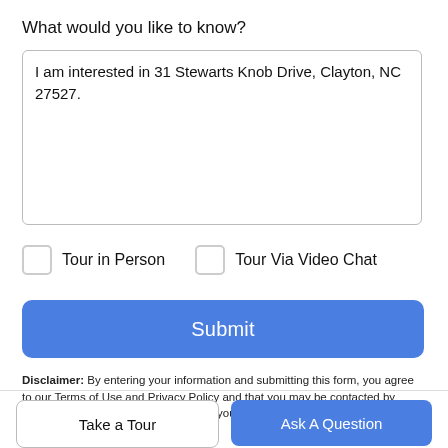What would you like to know?
I am interested in 31 Stewarts Knob Drive, Clayton, NC 27527.
Tour in Person
Tour Via Video Chat
Submit
Disclaimer: By entering your information and submitting this form, you agree to our Terms of Use and Privacy Policy and that you may be contacted by phone, text message and email about your inquiry.
Take a Tour
Ask A Question